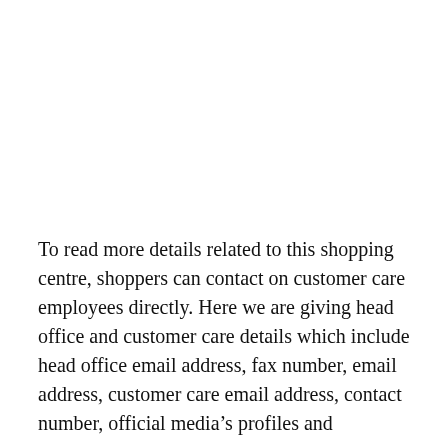To read more details related to this shopping centre, shoppers can contact on customer care employees directly. Here we are giving head office and customer care details which include head office email address, fax number, email address, customer care email address, contact number, official media's profiles and